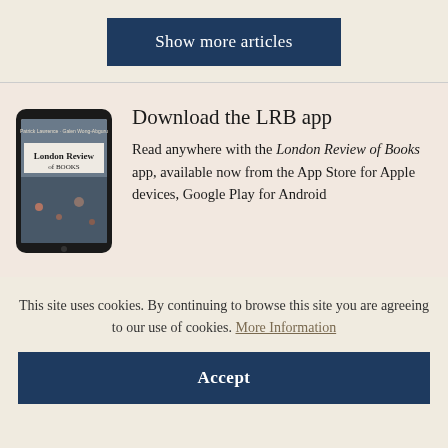Show more articles
[Figure (photo): Smartphone displaying the London Review of Books magazine cover app interface]
Download the LRB app
Read anywhere with the London Review of Books app, available now from the App Store for Apple devices, Google Play for Android
This site uses cookies. By continuing to browse this site you are agreeing to our use of cookies. More Information
Accept